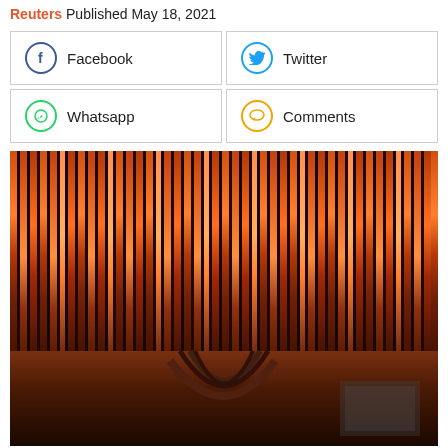Reuters Published May 18, 2021
Facebook
Twitter
Whatsapp
Comments
[Figure (photo): Close-up photograph of copper wire coils showing shiny reddish-brown copper wires wound tightly together with light reflections creating bright orange and dark shadow patterns]